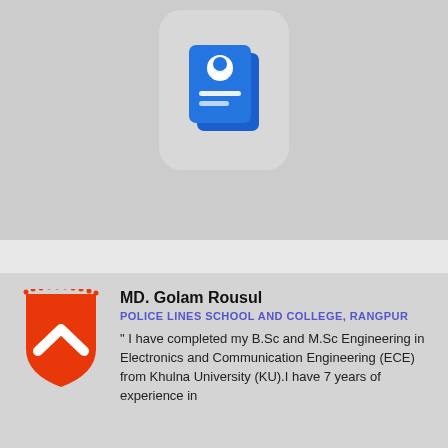[Figure (illustration): Blue ID card / contact book icon on a rounded light gray background, against a gray rectangular banner area]
[Figure (logo): Red shield logo with white upward chevron and small red dot spikes along the top edge]
MD. Golam Rousul
POLICE LINES SCHOOL AND COLLEGE, RANGPUR
" I have completed my B.Sc and M.Sc Engineering in Electronics and Communication Engineering (ECE) from Khulna University (KU).I have 7 years of experience in